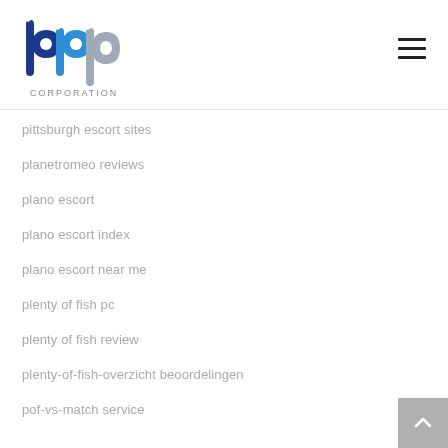bbp CORPORATION
pittsburgh escort sites
planetromeo reviews
plano escort
plano escort index
plano escort near me
plenty of fish pc
plenty of fish review
plenty-of-fish-overzicht beoordelingen
pof-vs-match service